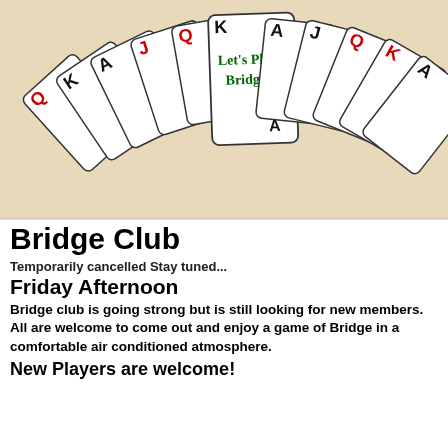[Figure (illustration): Fan of playing cards (Q, K, A, J, Q, K, A, J, Q, K, A) spread out on a beige/tan background. The center card reads 'Let's Play Bridge!' in green text with a black spade symbol. Card corner letters alternate red and black.]
Bridge Club
Temporarily cancelled Stay tuned...
Friday Afternoon
Bridge club is going strong but is still looking for new members.  All are welcome to come out and enjoy a game of Bridge in a comfortable air conditioned atmosphere.
New Players are welcome!